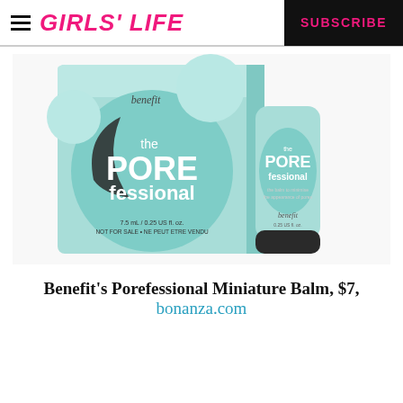GIRLS' LIFE   SUBSCRIBE
[Figure (photo): Benefit's POREfessional Miniature Balm product photo showing the light blue/mint colored box and matching mini tube. Box reads 'benefit the POREfessional 7.5 mL / 0.25 US fl. oz. NOT FOR SALE • NE PEUT ETRE VENDU'.]
Benefit's Porefessional Miniature Balm, $7, bonanza.com